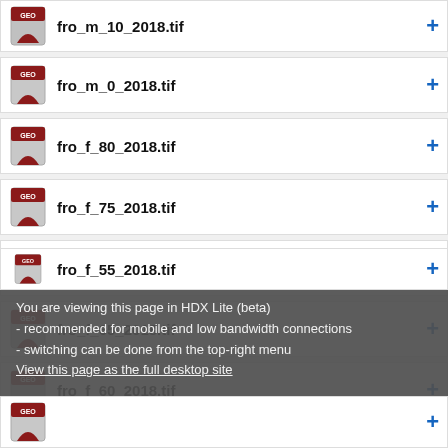fro_m_10_2018.tif
fro_m_0_2018.tif
fro_f_80_2018.tif
fro_f_75_2018.tif
fro_f_70_2018.tif
fro_f_65_2018.tif
fro_f_60_2018.tif
fro_f_55_2018.tif
You are viewing this page in HDX Lite (beta)
- recommended for mobile and low bandwidth connections
- switching can be done from the top-right menu
View this page as the full desktop site